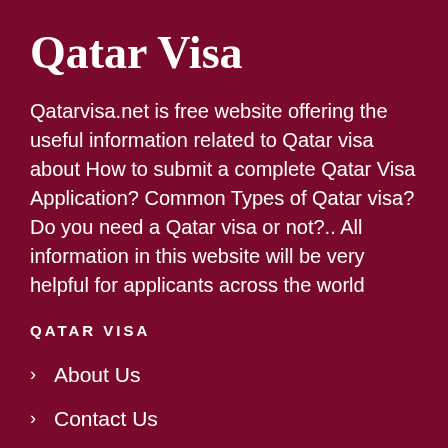Qatar Visa
Qatarvisa.net is free website offering the useful information related to Qatar visa about How to submit a complete Qatar Visa Application? Common Types of Qatar visa? Do you need a Qatar visa or not?.. All information in this website will be very helpful for applicants across the world
QATAR VISA
About Us
Contact Us
Embassy of Qatar
FAQs
Term of Use